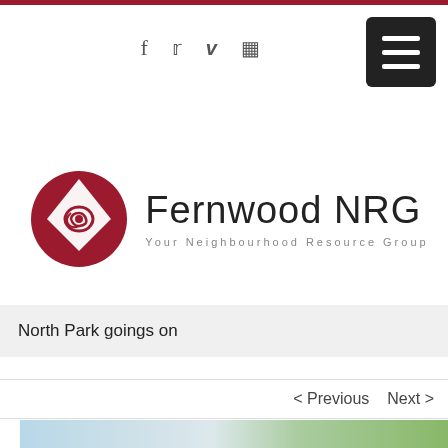f  v  [social icons]  [menu button]
[Figure (logo): Fernwood NRG logo: red circle with white diamond and spiral, beside text Fernwood NRG / Your Neighbourhood Resource Group]
North Park goings on
< Previous   Next >
[Figure (photo): Partial photo strip at bottom showing outdoor scene with blue/white and green elements]